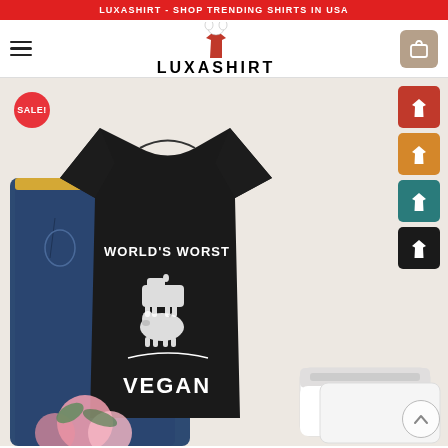LUXASHIRT - SHOP TRENDING SHIRTS IN USA
[Figure (logo): Luxashirt logo with dog wearing a shirt icon above the text LUXASHIRT in bold black letters]
[Figure (photo): Product photo of a black t-shirt reading WORLD'S WORST VEGAN with animal silhouettes, laid flat next to jeans, pink flowers, and white sneakers. A SALE! badge is visible top-left. Four color swatch options (black, orange, teal, dark-red) are shown on the right side.]